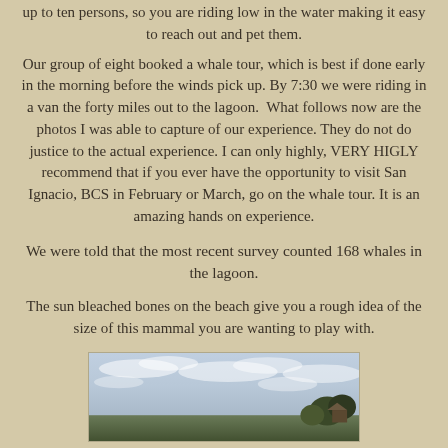up to ten persons, so you are riding low in the water making it easy to reach out and pet them.
Our group of eight booked a whale tour, which is best if done early in the morning before the winds pick up. By 7:30 we were riding in a van the forty miles out to the lagoon.  What follows now are the photos I was able to capture of our experience. They do not do justice to the actual experience. I can only highly, VERY HIGLY recommend that if you ever have the opportunity to visit San Ignacio, BCS in February or March, go on the whale tour. It is an amazing hands on experience.
We were told that the most recent survey counted 168 whales in the lagoon.
The sun bleached bones on the beach give you a rough idea of the size of this mammal you are wanting to play with.
[Figure (photo): Outdoor photo showing a cloudy sky over a landscape with trees or vegetation in the foreground, appearing to be near a lagoon or coastal area.]